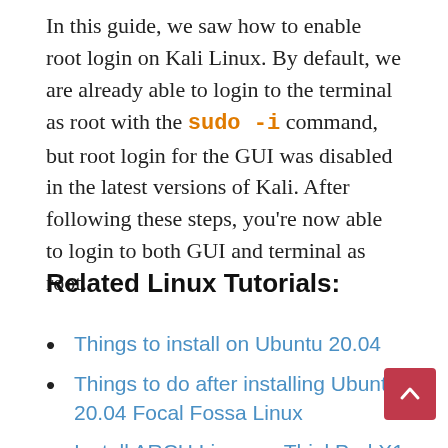In this guide, we saw how to enable root login on Kali Linux. By default, we are already able to login to the terminal as root with the sudo -i command, but root login for the GUI was disabled in the latest versions of Kali. After following these steps, you're now able to login to both GUI and terminal as root.
Related Linux Tutorials:
Things to install on Ubuntu 20.04
Things to do after installing Ubuntu 20.04 Focal Fossa Linux
Install ARCH Linux on ThinkPad X1 Carbon Gen 7 with...
How to dual boot Kali Linux and Windows 10...